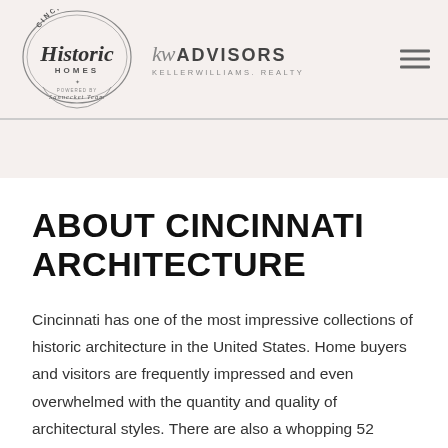[Figure (logo): Cincinnati Historic Homes logo with Keller Williams KW Advisors brand mark]
ABOUT CINCINNATI ARCHITECTURE
Cincinnati has one of the most impressive collections of historic architecture in the United States. Home buyers and visitors are frequently impressed and even overwhelmed with the quantity and quality of architectural styles. There are also a whopping 52 historic neighborhoods, each with a unique history and